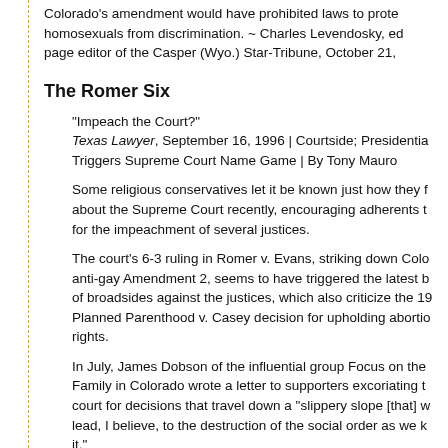Colorado's amendment would have prohibited laws to protect homosexuals from discrimination. ~ Charles Levendosky, editorial page editor of the Casper (Wyo.) Star-Tribune, October 21,
The Romer Six
"Impeach the Court?"
Texas Lawyer, September 16, 1996 | Courtside; Presidential Triggers Supreme Court Name Game | By Tony Mauro
Some religious conservatives let it be known just how they feel about the Supreme Court recently, encouraging adherents to call for the impeachment of several justices.
The court's 6-3 ruling in Romer v. Evans, striking down Colorado's anti-gay Amendment 2, seems to have triggered the latest barrage of broadsides against the justices, which also criticize the 1992 Planned Parenthood v. Casey decision for upholding abortion rights.
In July, James Dobson of the influential group Focus on the Family in Colorado wrote a letter to supporters excoriating the court for decisions that travel down a "slippery slope [that] will lead, I believe, to the destruction of the social order as we know it."